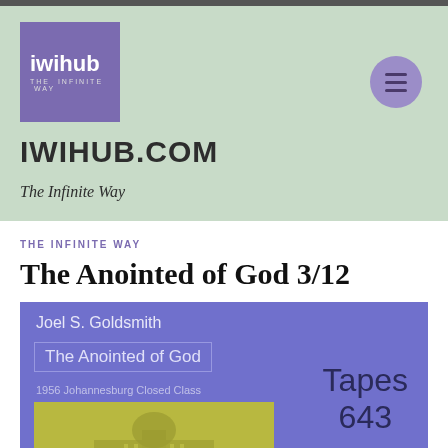[Figure (logo): iwihub logo — purple square with white text 'iwihub' and tagline 'THE INFINITE WAY']
IWIHUB.COM
The Infinite Way
THE INFINITE WAY
The Anointed of God 3/12
[Figure (illustration): Book cover for 'The Anointed of God' by Joel S. Goldsmith, 1956 Johannesburg Closed Class. Purple background with yellow building illustration. Text reads 'Tapes 643'.]